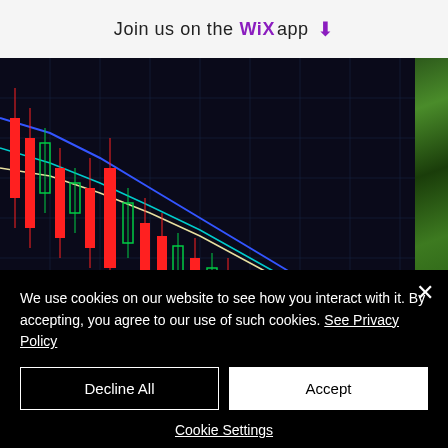Join us on the WiX app
[Figure (photo): Candlestick stock chart showing a downtrend with red and green candlesticks, overlaid with moving average curves (blue, cyan, yellow-white) on a dark background]
Photo by Maxim Hopman on Unsplash
We use cookies on our website to see how you interact with it. By accepting, you agree to our use of such cookies. See Privacy Policy
Decline All
Accept
Cookie Settings